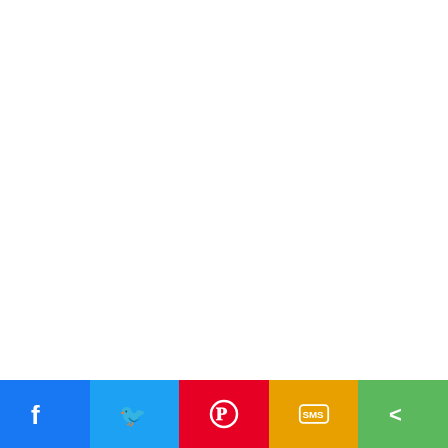[Figure (bar-chart): Frequency of alleles]
FIG. 1.
Allelic polymorphism found in Balochi sh
The figure illustrates that Primer alleles, Primer 2 (OarCP34) ampli (OarCP38) amplified two bands (50 one band (60 bp) suggesting only o primer 7 (BM1329) amplified no bar bands (45, 50, 60 and 100 bp) suggs